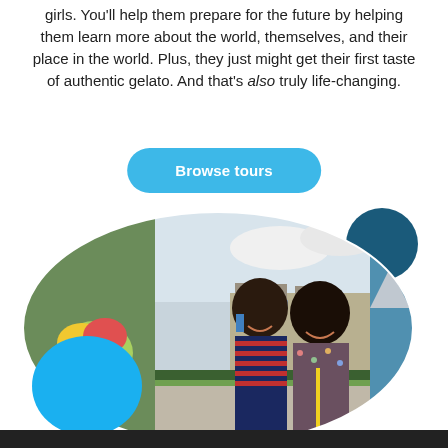girls. You'll help them prepare for the future by helping them learn more about the world, themselves, and their place in the world. Plus, they just might get their first taste of authentic gelato. And that's also truly life-changing.
Browse tours
[Figure (photo): Photo collage in an oval shape showing two young Black women smiling in front of the Louvre in Paris, with decorative images of gelato and a mountain scene. Decorative colored circles (dark teal top right, bright blue bottom left) surround the oval.]